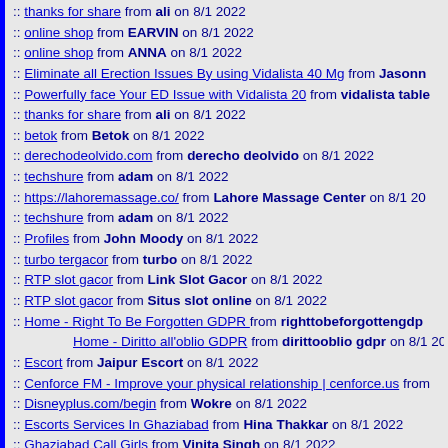:: thanks for share from ali on 8/1 2022
:: online shop from EARVIN on 8/1 2022
:: online shop from ANNA on 8/1 2022
:: Eliminate all Erection Issues By using Vidalista 40 Mg from Jasonn
:: Powerfully face Your ED Issue with Vidalista 20 from vidalista table
:: thanks for share from ali on 8/1 2022
:: betok from Betok on 8/1 2022
:: derechodeolvido.com from derecho deolvido on 8/1 2022
:: techshure from adam on 8/1 2022
:: https://lahoremassage.co/ from Lahore Massage Center on 8/1 20
:: techshure from adam on 8/1 2022
:: Profiles from John Moody on 8/1 2022
:: turbo tergacor from turbo on 8/1 2022
:: RTP slot gacor from Link Slot Gacor on 8/1 2022
:: RTP slot gacor from Situs slot online on 8/1 2022
:: Home - Right To Be Forgotten GDPR from righttobeforgottengdp
Home - Diritto all'oblio GDPR from dirittooblio gdpr on 8/1 20
:: Escort from Jaipur Escort on 8/1 2022
:: Cenforce FM - Improve your physical relationship | cenforce.us from
:: Disneyplus.com/begin from Wokre on 8/1 2022
:: Escorts Services In Ghaziabad from Hina Thakkar on 8/1 2022
:: Ghaziabad Call Girls from Vinita Singh on 8/1 2022
:: escorts in lahore from escorts in lahore on 8/1 2022
:: jaipur from jaipur on 8/1 2022
:: https://herbapproach.com/product/blue-hawaiian/ from blue hawaii
:: Coinbase Login from Charlie Johnson on 8/1 2022
:: Tadarise | Tadalafil | ED Pills - flatmeds from phyllisromero on 8/1
:: get contant from ali on 8/1 2022
:: do chekc out the link from jackson123 on 8/1 2022
:: https://sites.google.com/askscryptous.com/geminisignin/home from